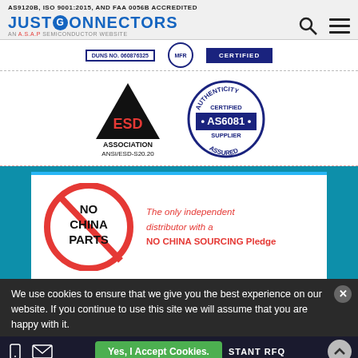AS9120B, ISO 9001:2015, AND FAA 0056B ACCREDITED
[Figure (logo): Just Connectors logo - AN A.S.A.P SEMICONDUCTOR WEBSITE]
[Figure (logo): Certification logos strip: DUNS NO. 060876325, MFR circle, and blue certification badge]
[Figure (logo): ESD Association ANSI/ESD-S20.20 badge and AS6081 Authenticity Certified Supplier badge]
[Figure (illustration): No China Parts red prohibition sign circle]
The only independent distributor with a NO CHINA SOURCING Pledge
We use cookies to ensure that we give you the best experience on our website. If you continue to use this site we will assume that you are happy with it.
Yes, I Accept Cookies.
STANT RFQ